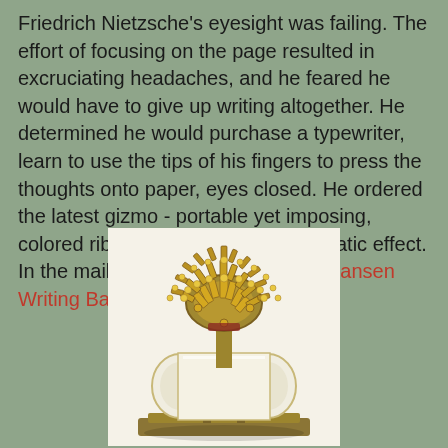Friedrich Nietzsche's eyesight was failing. The effort of focusing on the page resulted in excruciating headaches, and he feared he would have to give up writing altogether. He determined he would purchase a typewriter, learn to use the tips of his fingers to press the thoughts onto paper, eyes closed. He ordered the latest gizmo - portable yet imposing, colored ribbon at the ready for dramatic effect. In the mail arrived his new Malling-Hansen Writing Ball.
[Figure (photo): Photograph of a Malling-Hansen Writing Ball, an early typewriter device with a spherical arrangement of brass keys on top and a cylindrical paper holder below, all in a golden/brass finish on a white background.]